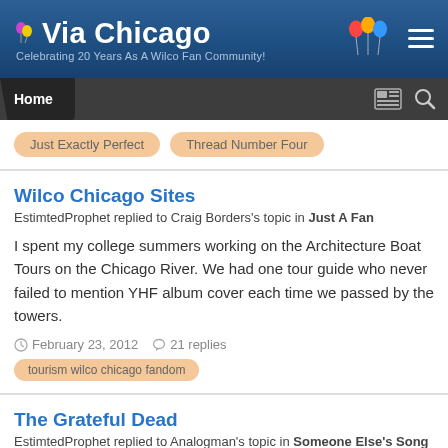Via Chicago — Celebrating 20 Years As A Wilco Fan Community!
Just Exactly Perfect   Thread Number Four
Wilco Chicago Sites
EstimtedProphet replied to Craig Borders's topic in Just A Fan
I spent my college summers working on the Architecture Boat Tours on the Chicago River. We had one tour guide who never failed to mention YHF album cover each time we passed by the towers.
February 23, 2012   21 replies
tourism wilco chicago fandom
The Grateful Dead
EstimtedProphet replied to Analogman's topic in Someone Else's Song